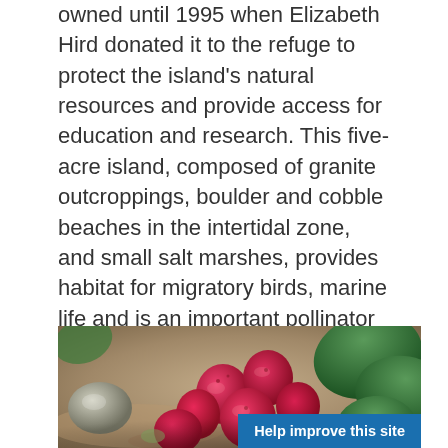owned until 1995 when Elizabeth Hird donated it to the refuge to protect the island's natural resources and provide access for education and research. This five-acre island, composed of granite outcroppings, boulder and cobble beaches in the intertidal zone, and small salt marshes, provides habitat for migratory birds, marine life and is an important pollinator stopover site. Outer Island is especially popular with families, schools and local day camps. PRO TIP: When visiting Outer Island or other island units, plan your visit at lower tides in order to explore and find creatures in the intertidal zone.
[Figure (photo): Close-up photo of red prickly pear cactus fruit (tunas) on rocky ground with green cactus pads visible in the background. A rounded grey-green pebble or shell is visible on the left side.]